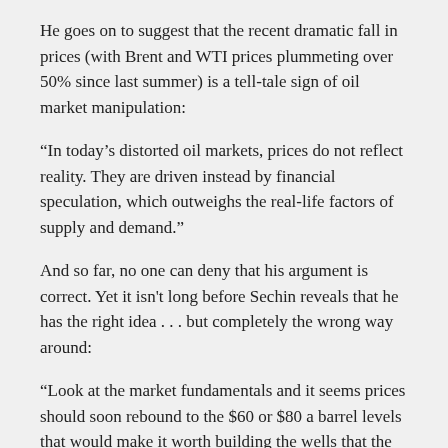He goes on to suggest that the recent dramatic fall in prices (with Brent and WTI prices plummeting over 50% since last summer) is a tell-tale sign of oil market manipulation:
“In today’s distorted oil markets, prices do not reflect reality. They are driven instead by financial speculation, which outweighs the real-life factors of supply and demand.”
And so far, no one can deny that his argument is correct. Yet it isn't long before Sechin reveals that he has the right idea . . . but completely the wrong way around:
“Look at the market fundamentals and it seems prices should soon rebound to the $60 or $80 a barrel levels that would make it worth building the wells that the world needs. But if markets are distorted, and the rebound takes longer than it should, many current production projects will be mothballed — and the price will eventually climb to $90 to $110 a barrel, or higher.”
This, predictably, is where the oil CEO errs. Although he